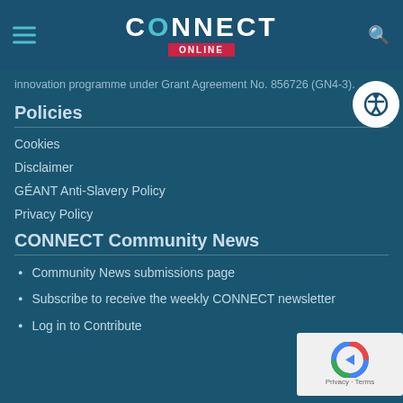CONNECT ONLINE
innovation programme under Grant Agreement No. 856726 (GN4-3).
Policies
Cookies
Disclaimer
GÉANT Anti-Slavery Policy
Privacy Policy
CONNECT Community News
Community News submissions page
Subscribe to receive the weekly CONNECT newsletter
Log in to Contribute